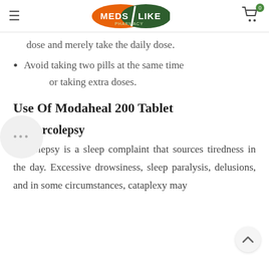MedsLike Pharmacy
dose and merely take the daily dose.
Avoid taking two pills at the same time
or taking extra doses.
Use Of Modaheal 200 Tablet
In Narcolepsy
Narcolepsy is a sleep complaint that sources tiredness in the day. Excessive drowsiness, sleep paralysis, delusions, and in some circumstances, cataplexy may